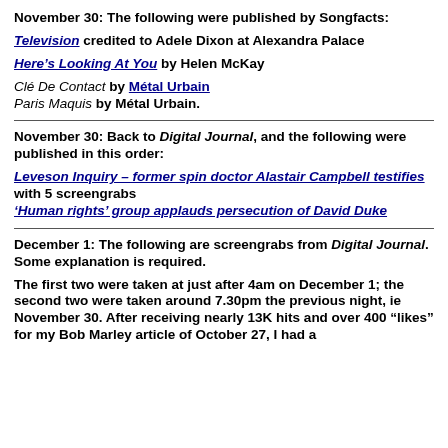November 30: The following were published by Songfacts:
Television credited to Adele Dixon at Alexandra Palace
Here’s Looking At You by Helen McKay
Clé De Contact by Métal Urbain
Paris Maquis by Métal Urbain.
November 30: Back to Digital Journal, and the following were published in this order:
Leveson Inquiry – former spin doctor Alastair Campbell testifies with 5 screengrabs
‘Human rights’ group applauds persecution of David Duke
December 1: The following are screengrabs from Digital Journal. Some explanation is required.
The first two were taken at just after 4am on December 1; the second two were taken around 7.30pm the previous night, ie November 30. After receiving nearly 13K hits and over 400 “likes” for my Bob Marley article of October 27, I had a